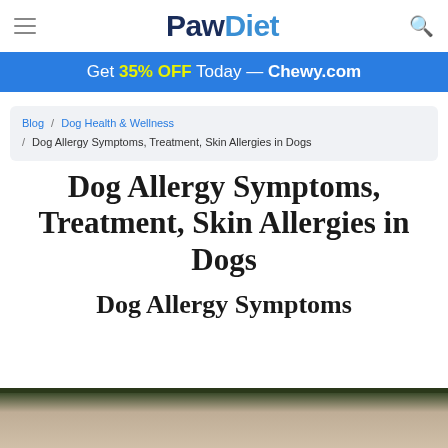PawDiet
Get 35% OFF Today — Chewy.com
Blog / Dog Health & Wellness / Dog Allergy Symptoms, Treatment, Skin Allergies in Dogs
Dog Allergy Symptoms, Treatment, Skin Allergies in Dogs
Dog Allergy Symptoms
[Figure (photo): Partial view of a dog, beige/tan fur, at the bottom of the page]